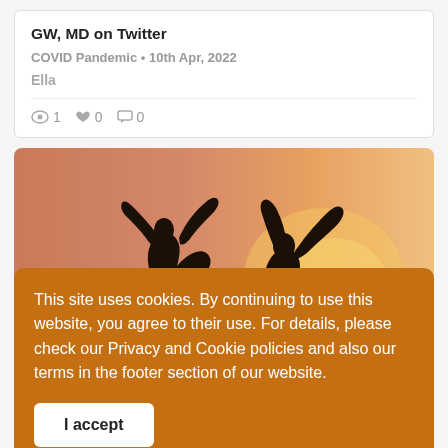GW, MD on Twitter
COVID Pandemic • 10th Apr, 2022
Ella
👁 1 ❤ 0 💬 0
[Figure (photo): Silhouette of two people jumping with arms raised against an orange/pink sunset sky background]
This site uses cookies. By continuing to use this website, you agree to their use. For details, please check our Privacy and Cookie policies and also our terms in the footer section of our website.
I accept
👁 2 ❤ 0 💬 0